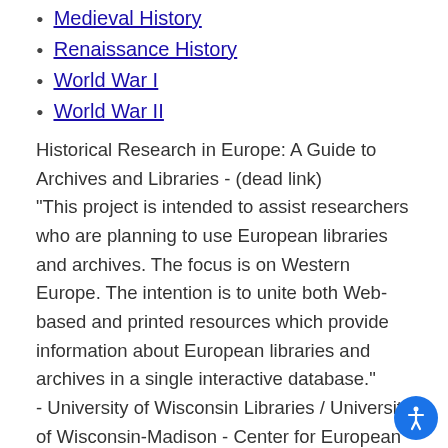Medieval History
Renaissance History
World War I
World War II
Historical Research in Europe: A Guide to Archives and Libraries - (dead link)
"This project is intended to assist researchers who are planning to use European libraries and archives. The focus is on Western Europe. The intention is to unite both Web-based and printed resources which provide information about European libraries and archives in a single interactive database."
- University of Wisconsin Libraries / University of Wisconsin-Madison - Center for European Studies